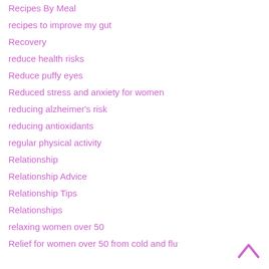Recipes By Meal
recipes to improve my gut
Recovery
reduce health risks
Reduce puffy eyes
Reduced stress and anxiety for women
reducing alzheimer's risk
reducing antioxidants
regular physical activity
Relationship
Relationship Advice
Relationship Tips
Relationships
relaxing women over 50
Relief for women over 50 from cold and flu